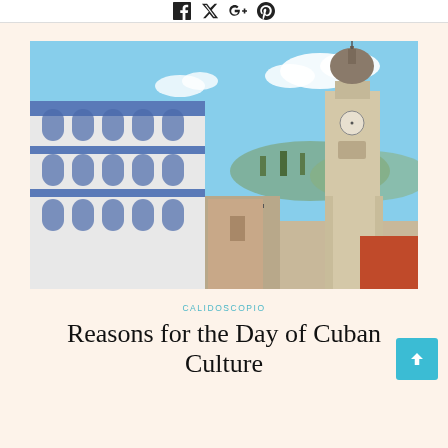Social media icons bar
[Figure (photo): Aerial view of a Cuban colonial town square showing a white building with blue arched windows on the left and a church bell tower with a domed top on the right, with a street running between them under a partly cloudy blue sky.]
CALIDOSCOPIO
Reasons for the Day of Cuban Culture